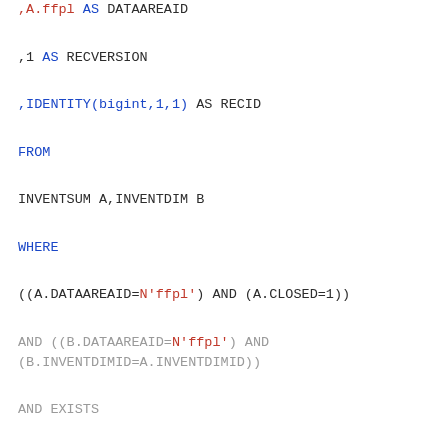,A.ffpl AS DATAAREAID
,1 AS RECVERSION
,IDENTITY(bigint,1,1) AS RECID
FROM
INVENTSUM A,INVENTDIM B
WHERE
((A.DATAAREAID=N'ffpl') AND (A.CLOSED=1))
AND ((B.DATAAREAID=N'ffpl') AND (B.INVENTDIMID=A.INVENTDIMID))
AND EXISTS